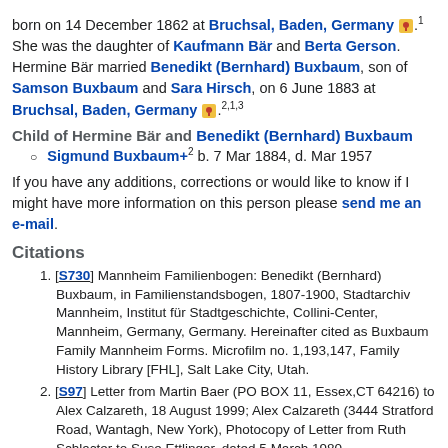born on 14 December 1862 at Bruchsal, Baden, Germany [icon].1 She was the daughter of Kaufmann Bär and Berta Gerson. Hermine Bär married Benedikt (Bernhard) Buxbaum, son of Samson Buxbaum and Sara Hirsch, on 6 June 1883 at Bruchsal, Baden, Germany [icon].2,1,3
Child of Hermine Bär and Benedikt (Bernhard) Buxbaum
Sigmund Buxbaum+2 b. 7 Mar 1884, d. Mar 1957
If you have any additions, corrections or would like to know if I might have more information on this person please send me an e-mail.
Citations
[S730] Mannheim Familienbogen: Benedikt (Bernhard) Buxbaum, in Familienstandsbogen, 1807-1900, Stadtarchiv Mannheim, Institut für Stadtgeschichte, Collini-Center, Mannheim, Germany, Germany. Hereinafter cited as Buxbaum Family Mannheim Forms. Microfilm no. 1,193,147, Family History Library [FHL], Salt Lake City, Utah.
[S97] Letter from Martin Baer (PO BOX 11, Essex,CT 64216) to Alex Calzareth, 18 August 1999; Alex Calzareth (3444 Stratford Road, Wantagh, New York), Photocopy of Letter from Ruth Schlacter to Suse Ettlinger, dated 5 March 1980.